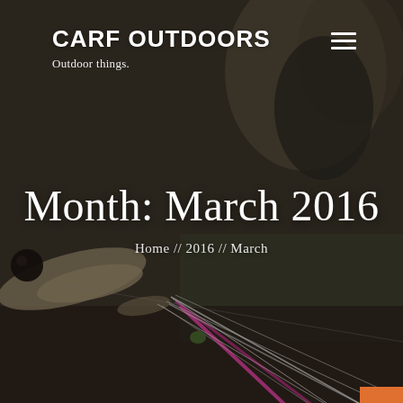[Figure (photo): Blurred close-up background photo of a fishing lure (fish bait with pink feathers and hooks) against a dark, blurred outdoor background with archway structure visible.]
CARF OUTDOORS
Outdoor things.
Month: March 2016
Home // 2016 // March